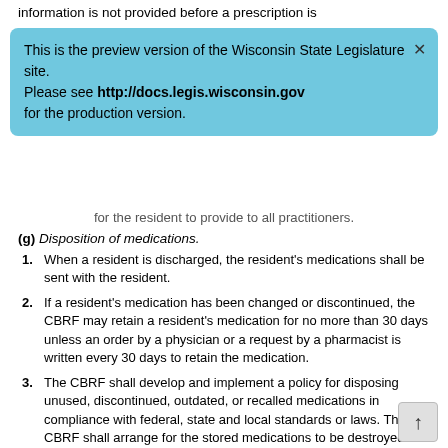information is not provided before a prescription is
This is the preview version of the Wisconsin State Legislature site. Please see http://docs.legis.wisconsin.gov for the production version.
for the resident to provide to all practitioners.
(g) Disposition of medications.
1. When a resident is discharged, the resident's medications shall be sent with the resident.
2. If a resident's medication has been changed or discontinued, the CBRF may retain a resident's medication for no more than 30 days unless an order by a physician or a request by a pharmacist is written every 30 days to retain the medication.
3. The CBRF shall develop and implement a policy for disposing unused, discontinued, outdated, or recalled medications in compliance with federal, state and local standards or laws. The CBRF shall arrange for the stored medications to be destroyed in compliance with standard practices. Medications that cannot be returned to the pharmacy shall be separated from other medication in current use in the facility and stored in a locked area, with access limited to the administrator or designee. The administrator or designee and one other employee sha…